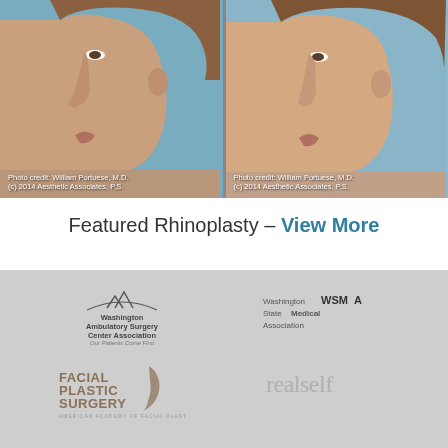[Figure (photo): Before and after rhinoplasty side profile photos of a young woman. Left photo shows pre-surgery profile, right photo shows post-surgery profile. Both credited to William Portuese, M.D., (c) 2014 Aesthetic Associates, P.S.]
Featured Rhinoplasty – View More
[Figure (logo): Washington Ambulatory Surgery Center Association logo with tagline 'Our Patients Come First']
[Figure (logo): Washington State Medical Association (WSMA) logo]
[Figure (logo): American Academy of Facial Plastic Surgery logo]
[Figure (logo): RealSelf logo]